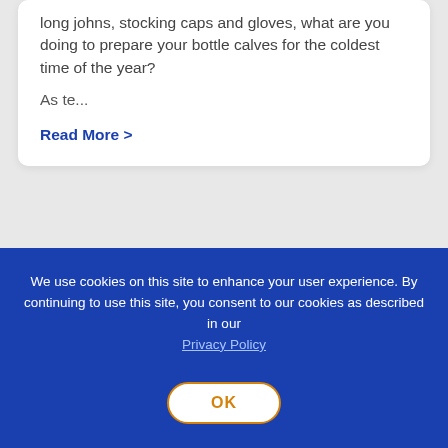long johns, stocking caps and gloves, what are you doing to prepare your bottle calves for the coldest time of the year?
As te...
Read More >
BROWSE ALL POSTS
We use cookies on this site to enhance your user experience. By continuing to use this site, you consent to our cookies as described in our Privacy Policy
OK